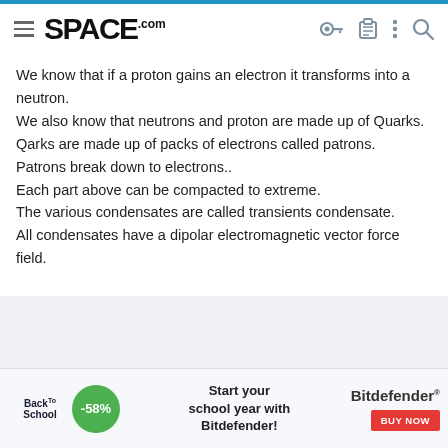SPACE.com
We know that if a proton gains an electron it transforms into a neutron.
We also know that neutrons and proton are made up of Quarks.
Qarks are made up of packs of electrons called patrons.
Patrons break down to electrons..
Each part above can be compacted to extreme.
The various condensates are called transients condensate.
All condensates have a dipolar electromagnetic vector force field.
[Figure (screenshot): Bitdefender Back to School advertisement banner with -58% discount offer and 'Start your school year with Bitdefender!' text and BUY NOW button]